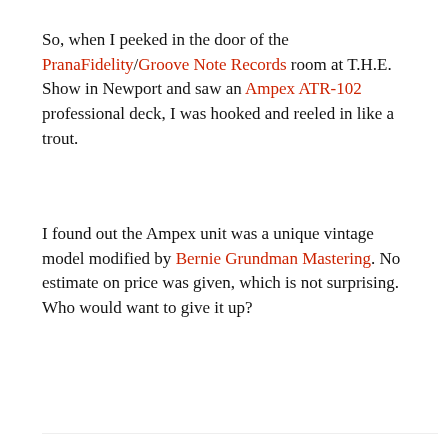So, when I peeked in the door of the PranaFidelity/Groove Note Records room at T.H.E. Show in Newport and saw an Ampex ATR-102 professional deck, I was hooked and reeled in like a trout.
I found out the Ampex unit was a unique vintage model modified by Bernie Grundman Mastering. No estimate on price was given, which is not surprising. Who would want to give it up?
[Figure (photo): Advertisement banner showing Exogal Comet Digital to Analog Converter on left, Underwood HiFi ad in center, and Part-Time Audiophile Best 2015 badge on right]
[Figure (photo): Photo of professional audio tape deck equipment, likely the Ampex ATR-102, shown in a rack or cabinet with multiple meters and controls visible]